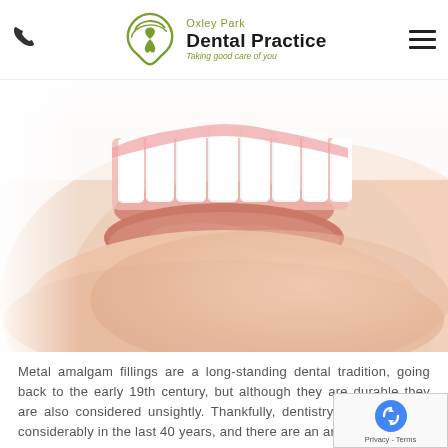Oxley Park Dental Practice — Taking good care of you
[Figure (photo): Close-up photo of a person smiling showing white teeth and lower face, on a white background — dental practice hero image]
Metal amalgam fillings are a long-standing dental tradition, going back to the early 19th century, but although they are durable they are also considered unsightly. Thankfully, dentistry has moved on considerably in the last 40 years, and there are an array of options